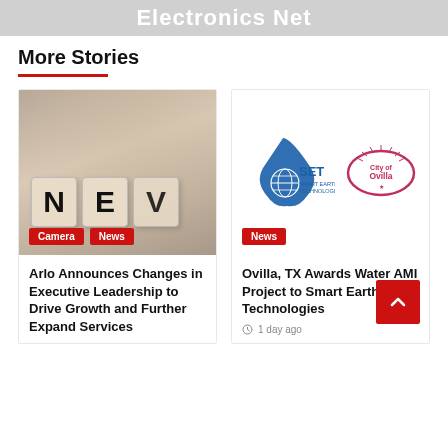Electronics Net
More Stories
[Figure (photo): Scrabble-like letter cubes spelling NEV on a wooden surface, sepia-toned]
Camera  News
Arlo Announces Changes in Executive Leadership to Drive Growth and Further Expand Services
[Figure (logo): SET Smart Earth Technologies logo (blue water drop with globe) alongside City of Ovilla oval logo]
News
Ovilla, TX Awards Water AMI Project to Smart Earth Technologies
1 day ago